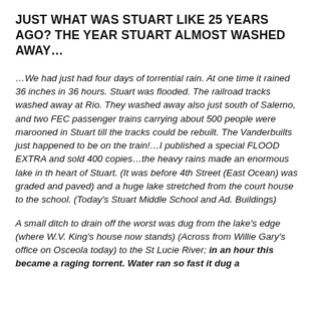JUST WHAT WAS STUART LIKE 25 YEARS AGO? THE YEAR STUART ALMOST WASHED AWAY…
…We had just had four days of torrential rain. At one time it rained 36 inches in 36 hours. Stuart was flooded. The railroad tracks washed away at Rio. They washed away also just south of Salerno, and two FEC passenger trains carrying about 500 people were marooned in Stuart till the tracks could be rebuilt. The Vanderbuilts just happened to be on the train!…I published a special FLOOD EXTRA and sold 400 copies…the heavy rains made an enormous lake in th heart of Stuart. (It was before 4th Street (East Ocean) was graded and paved) and a huge lake stretched from the court house to the school. (Today's Stuart Middle School and Ad. Buildings)
A small ditch to drain off the worst was dug from the lake's edge (where W.V. King's house now stands) (Across from Willie Gary's office on Osceola today) to the St Lucie River; in an hour this became a raging torrent. Water ran so fast it dug a